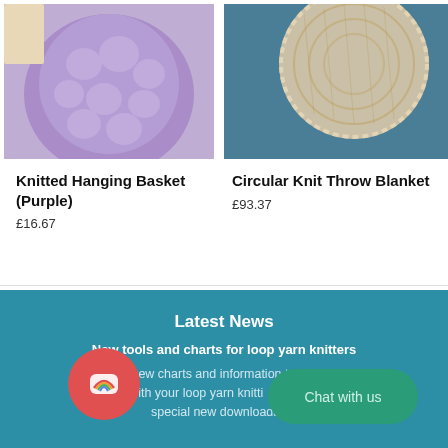[Figure (photo): Purple knitted hanging basket ball on light background]
Knitted Hanging Basket (Purple)
£16.67
[Figure (photo): Circular knit throw blanket in cream/beige color on blue background]
Circular Knit Throw Blanket
£93.37
Latest News
New tools and charts for loop yarn knitters
We added new charts and information to the website to help you with your loop yarn knitting, including a special new downloadable